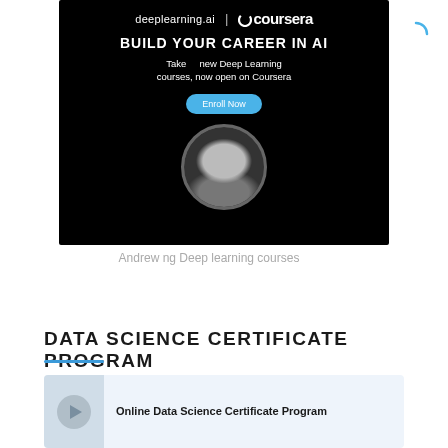[Figure (screenshot): Deeplearning.ai and Coursera advertisement banner with 'BUILD YOUR CAREER IN AI' text, 'Enroll Now' button, and photo of Andrew Ng on black background]
Andrew ng Deep learning courses
DATA SCIENCE CERTIFICATE PROGRAM
[Figure (screenshot): Online Data Science Certificate Program card with play button icon on light blue background]